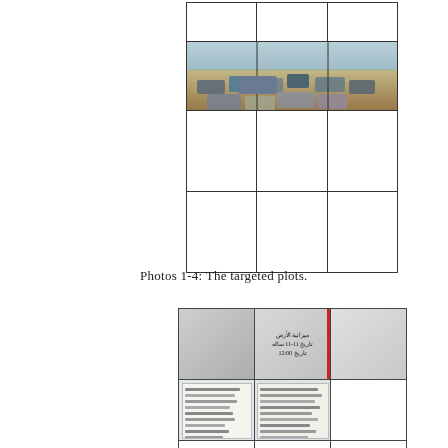[Figure (table-as-image): A 3-column grid table with a photograph of a parking lot filled with cars in the middle row, and empty cells above and below.]
Photos 1-4: The targeted plots.
[Figure (photo): A composite 3-column grid showing: top row with a sign/notice written in Arabic text on a frosted surface with a red stripe; bottom row with documents/papers open showing Arabic text and form data; and empty cells on the right.]